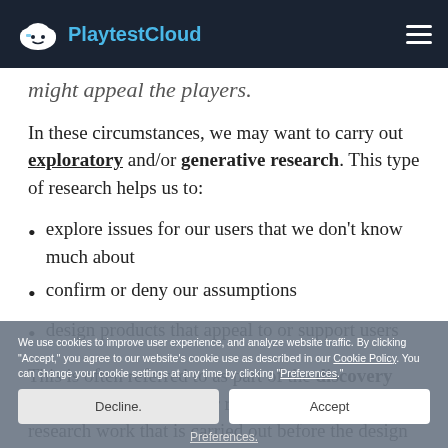PlaytestCloud
might appeal the players.
In these circumstances, we may want to carry out exploratory and/or generative research. This type of research helps us to:
explore issues for our users that we don't know much about
confirm or deny our assumptions
design products that appeal to or support users
This is often referred to as part of the discovery process in the wider user research field: that is, the research work that is carried out before the design